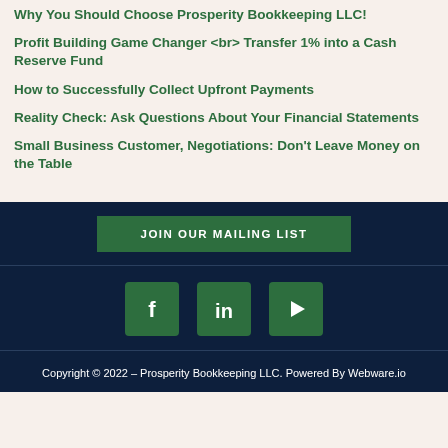Why You Should Choose Prosperity Bookkeeping LLC!
Profit Building Game Changer <br> Transfer 1% into a Cash Reserve Fund
How to Successfully Collect Upfront Payments
Reality Check: Ask Questions About Your Financial Statements
Small Business Customer, Negotiations: Don't Leave Money on the Table
JOIN OUR MAILING LIST
[Figure (infographic): Social media icons: Facebook, LinkedIn, YouTube/Play button]
Copyright © 2022 – Prosperity Bookkeeping LLC. Powered By Webware.io